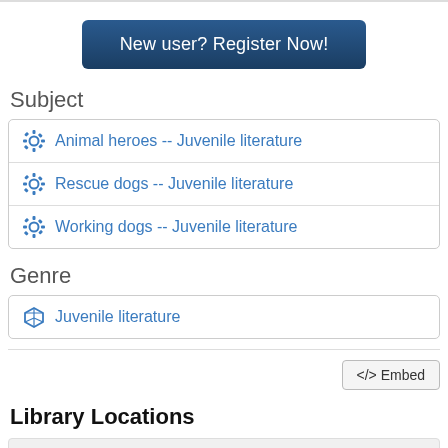[Figure (other): New user? Register Now! button - dark blue rounded rectangle button]
Subject
Animal heroes -- Juvenile literature
Rescue dogs -- Juvenile literature
Working dogs -- Juvenile literature
Genre
Juvenile literature
</> Embed
Library Locations
Map | Details